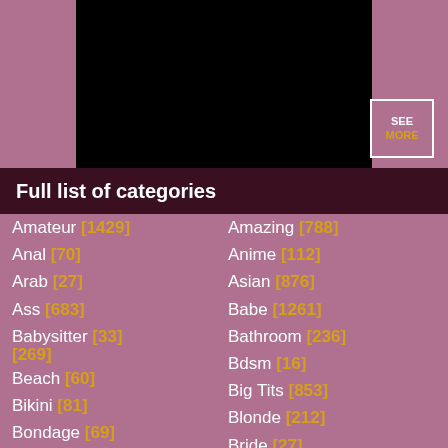[Figure (other): Black rectangle with 'SEE MORE' button overlay on mauve/pink background]
Full list of categories
Amateur [1429]
Anal [70]
Arab [27]
Ass [683]
Babysitter [33] [269]
Beach [60]
Bikini [81]
Bondage [69]
British [80]
Amazing [788]
Anime [112]
Asian [876]
Babe [1261]
Bathroom [236]
Bdsm [16]
Big Tits [853]
Blonde [212]
Bride [27]
Brunette [78]